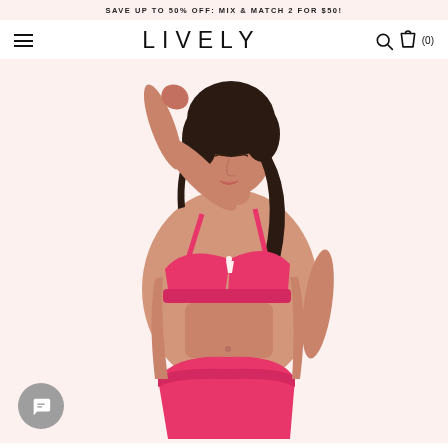SAVE UP TO 50% OFF: MIX & MATCH 2 FOR $50!
LIVELY
[Figure (photo): Woman wearing pink bra and matching pink high-waisted underwear, posing with one hand behind her head, on a light pink background. LIVELY brand e-commerce product photo.]